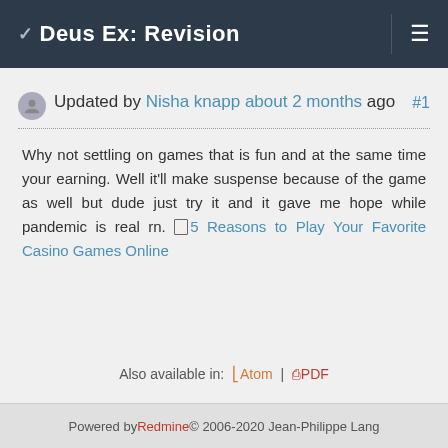Deus Ex: Revision
Updated by Nisha knapp about 2 months ago #1
Why not settling on games that is fun and at the same time your earning. Well it'll make suspense because of the game as well but dude just try it and it gave me hope while pandemic is real rn. 5 Reasons to Play Your Favorite Casino Games Online
Also available in: Atom | PDF
Powered by Redmine © 2006-2020 Jean-Philippe Lang